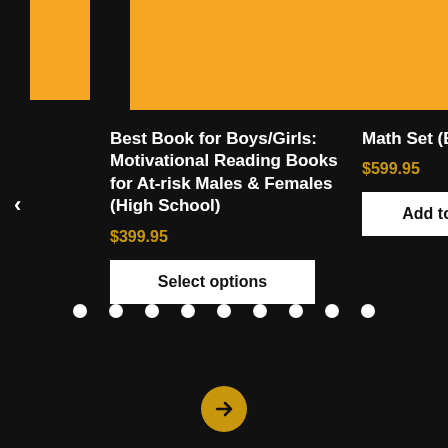[Figure (photo): Orange book cover image - small left strip]
[Figure (photo): Orange book cover image - center large]
[Figure (photo): Orange book cover image - right]
Best Book for Boys/Girls: Motivational Reading Books for At-risk Males & Females (High School)
$399.95
Select options
Math Set (Elementary)
$599.95
Add to cart